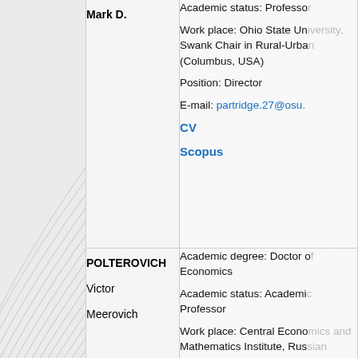|  | Name | Information |
| --- | --- | --- |
|  | Mark D. | Academic status: Professor

Work place: Ohio State University, Swank Chair in Rural-Urban (Columbus, USA)

Position: Director

E-mail: partridge.27@osu.

CV

Scopus |
|  | POLTEROVICH Victor Meerovich | Academic degree: Doctor of Economics

Academic status: Academic Professor

Work place: Central Economics and Mathematics Institute, Russian Academy of Sciences (Mo... Russia) |